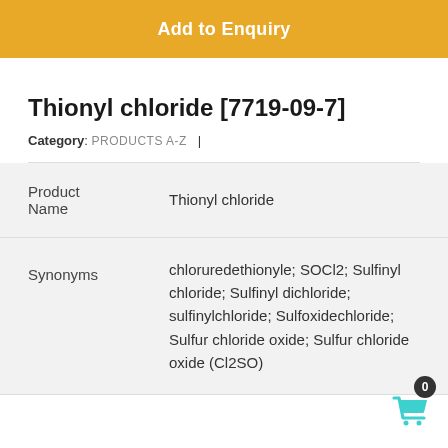Add to Enquiry
Thionyl chloride [7719-09-7]
Category: PRODUCTS A-Z  |
|  |  |
| --- | --- |
| Product Name | Thionyl chloride |
| Synonyms | chloruredethionyle; SOCl2; Sulfinyl chloride; Sulfinyl dichloride; sulfinylchloride; Sulfoxidechloride; Sulfur chloride oxide; Sulfur chloride oxide (Cl2SO) |